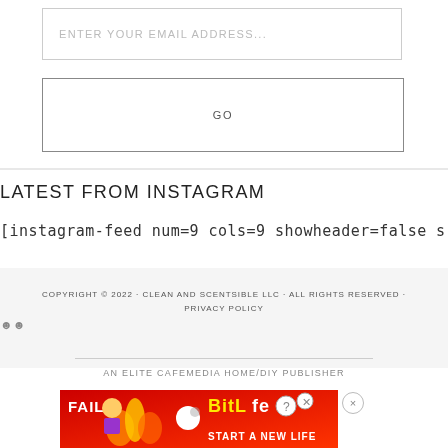ENTER YOUR EMAIL ADDRESS...
GO
LATEST FROM INSTAGRAM
[instagram-feed num=9 cols=9 showheader=false s
COPYRIGHT © 2022 · CLEAN AND SCENTSIBLE LLC · ALL RIGHTS RESERVED · PRIVACY POLICY
AN ELITE CAFEMEDIA HOME/DIY PUBLISHER